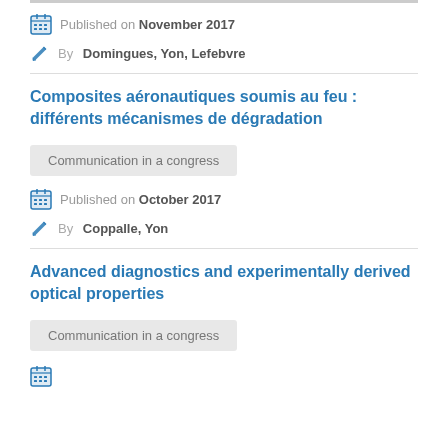Published on November 2017
By Domingues, Yon, Lefebvre
Composites aéronautiques soumis au feu : différents mécanismes de dégradation
Communication in a congress
Published on October 2017
By Coppalle, Yon
Advanced diagnostics and experimentally derived optical properties
Communication in a congress